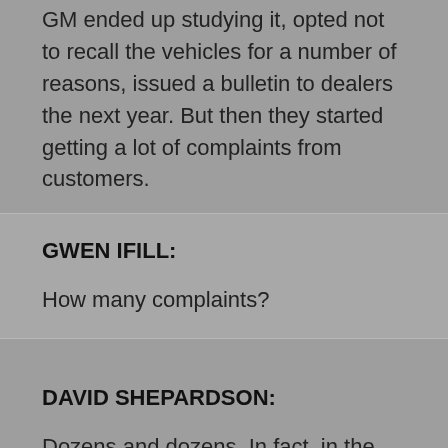GM ended up studying it, opted not to recall the vehicles for a number of reasons, issued a bulletin to dealers the next year. But then they started getting a lot of complaints from customers.
GWEN IFILL:
How many complaints?
DAVID SHEPARDSON:
Dozens and dozens. In fact, in the 2005 time frame, they bought back at least a dozen vehicles there consumers who had